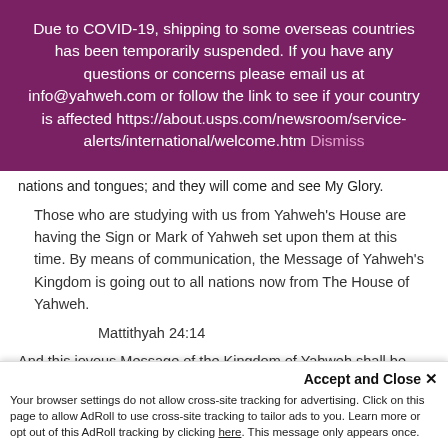Due to COVID-19, shipping to some overseas countries has been temporarily suspended. If you have any questions or concerns please email us at info@yahweh.com or follow the link to see if your country is affected https://about.usps.com/newsroom/service-alerts/international/welcome.htm Dismiss
nations and tongues; and they will come and see My Glory.
Those who are studying with us from Yahweh's House are having the Sign or Mark of Yahweh set upon them at this time. By means of communication, the Message of Yahweh's Kingdom is going out to all nations now from The House of Yahweh.
Mattithyah 24:14
And this joyous Message of the Kingdom of Yahweh shall be preached in all the world from The House of Yahweh at Abel by the Witness Yisrayl; for
Accept and Close ✕
Your browser settings do not allow cross-site tracking for advertising. Click on this page to allow AdRoll to use cross-site tracking to tailor ads to you. Learn more or opt out of this AdRoll tracking by clicking here. This message only appears once.